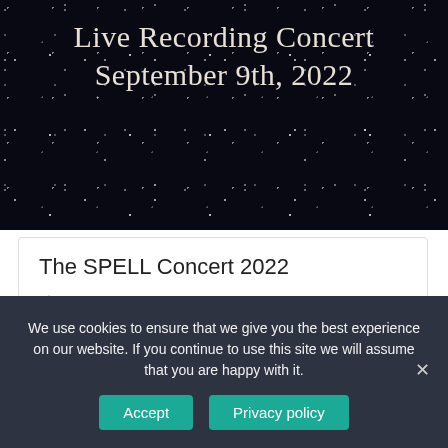[Figure (photo): Dark starfield/night sky banner background with white text overlay]
Live Recording Concert September 9th, 2022
The SPELL Concert 2022
09-09-2022
Cedars House of Grace, Block 2, Plot 3 Okunde Blue Qaters Zone, Adjacent Twin Waters, off Remi Olowude Street, Lekki, Lagos
Concert
We use cookies to ensure that we give you the best experience on our website. If you continue to use this site we will assume that you are happy with it.
Accept
Privacy policy